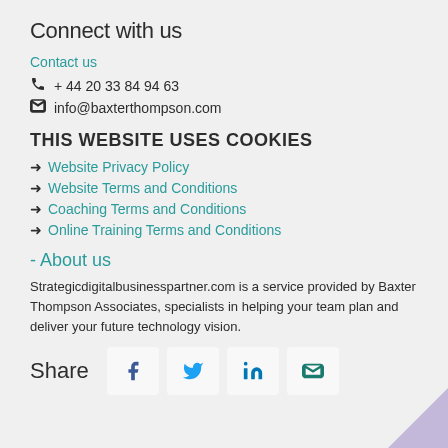Connect with us
Contact us
+ 44 20 33 84 94 63
info@baxterthompson.com
THIS WEBSITE USES COOKIES
Website Privacy Policy
Website Terms and Conditions
Coaching Terms and Conditions
Online Training Terms and Conditions
- About us
Strategicdigitalbusinesspartner.com is a service provided by Baxter Thompson Associates, specialists in helping your team plan and deliver your future technology vision.
Share